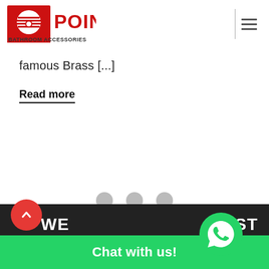[Figure (logo): Point Bathroom Accessories logo — red square with circular globe/stripe icon, red bold text POINT, subtitle BATHROOM ACCESSORIES]
famous Brass [...]
Read more
[Figure (other): Three light grey circular dots — carousel/pagination indicators]
[Figure (other): Dark footer section with partial text WE...ST visible, WhatsApp green chat bar with Chat with us! text, WhatsApp icon, and red back-to-top arrow button]